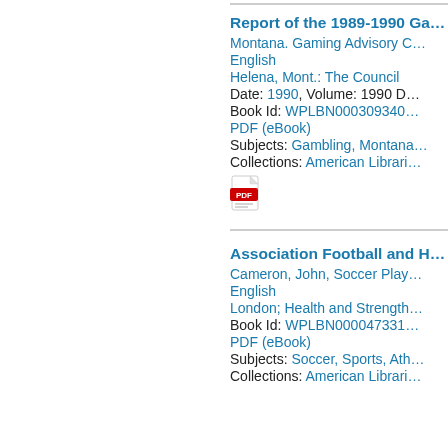Report of the 1989-1990 Ga…
Montana. Gaming Advisory C…
English
Helena, Mont.: The Council
Date: 1990, Volume: 1990 D…
Book Id: WPLBN000309340…
PDF (eBook)
Subjects: Gambling, Montana…
Collections: American Librari…
[Figure (other): PDF file icon (red and white Adobe PDF icon)]
Association Football and H…
Cameron, John, Soccer Play…
English
London; Health and Strength…
Book Id: WPLBN000047331…
PDF (eBook)
Subjects: Soccer, Sports, Ath…
Collections: American Librari…